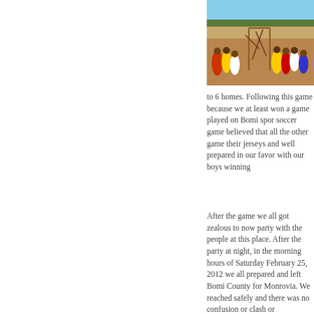[Figure (photo): Outdoor photo of people gathered around what appears to be a soccer goal made of sticks/branches on a dusty field, with trees in the background and a blue sky.]
to 6 homes. Following this game because we at least won a game played on Bomi spor soccer game believed that all the other game their jerseys and well prepared in our favor with our boys winning
After the game we all got zealous to now party with the people at this place. After the party at night, in the morning hours of Saturday February 25, 2012 we all prepared and left Bomi County for Monrovia. We reached safely and there was no confusion or clash or misunderstanding between any of our student or staff and any other student, person or providing such help for us that we like this.